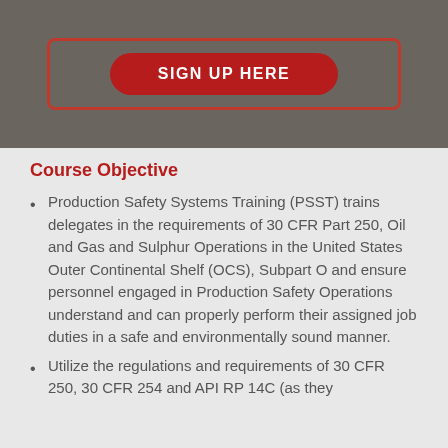[Figure (other): Dark grey banner with a red rounded button labeled SIGN UP HERE with a red rectangular outline border around the button area]
Course Objective
Production Safety Systems Training (PSST) trains delegates in the requirements of 30 CFR Part 250, Oil and Gas and Sulphur Operations in the United States Outer Continental Shelf (OCS), Subpart O and ensure personnel engaged in Production Safety Operations understand and can properly perform their assigned job duties in a safe and environmentally sound manner.
Utilize the regulations and requirements of 30 CFR 250, 30 CFR 254 and API RP 14C (as they